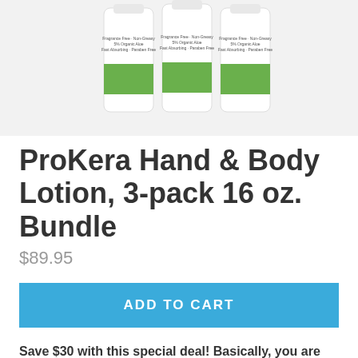[Figure (photo): Three white pump bottles of ProKera Hand & Body Lotion with green label bands, shown on white background]
ProKera Hand & Body Lotion, 3-pack 16 oz. Bundle
$89.95
ADD TO CART
Save $30 with this special deal! Basically, you are paying for two 16 oz. bottles of ProKera Hand &